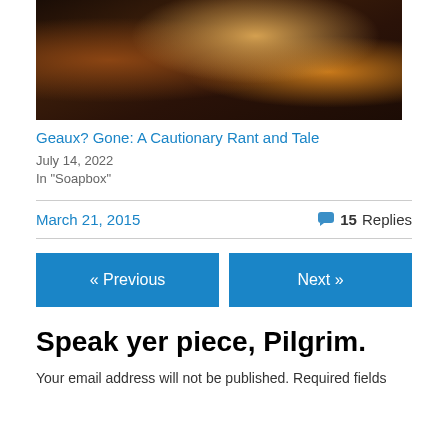[Figure (photo): Overhead/wide-angle photo of a crowded indoor event with people, colorful balloons and decorations, and display booths. Dark and warm-toned.]
Geaux? Gone: A Cautionary Rant and Tale
July 14, 2022
In "Soapbox"
March 21, 2015
15 Replies
« Previous
Next »
Speak yer piece, Pilgrim.
Your email address will not be published. Required fields